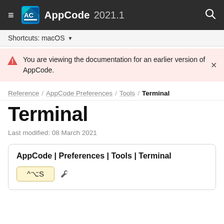AppCode 2021.1
Shortcuts: macOS ▼
You are viewing the documentation for an earlier version of AppCode.
Reference / AppCode Preferences / Tools / Terminal
Terminal
Last modified: 08 March 2021
AppCode | Preferences | Tools | Terminal
^⌥S 🔧